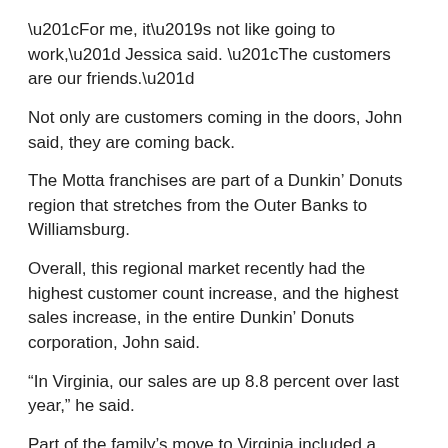“For me, it’s not like going to work,” Jessica said. “The customers are our friends.”
Not only are customers coming in the doors, John said, they are coming back.
The Motta franchises are part of a Dunkin’ Donuts region that stretches from the Outer Banks to Williamsburg.
Overall, this regional market recently had the highest customer count increase, and the highest sales increase, in the entire Dunkin’ Donuts corporation, John said.
“In Virginia, our sales are up 8.8 percent over last year,” he said.
Part of the family’s move to Virginia included a commitment to open 40 new locations throughout the region.
Recently the old Hampton Boulevard store was closed and ground was broken at a new store, at 39th Street and Hampton Boulevard.
“Like the remodels, this is a big commitment,” John said. “But we have a good relationship with the Dunkin’ Donuts